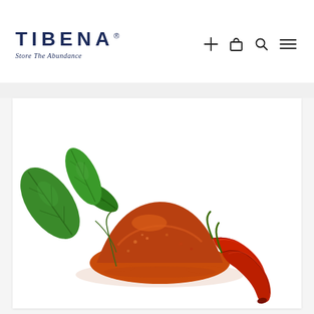TIBENA® — Store The Abundance — navigation icons: plus, bag, search, menu
[Figure (photo): Product photo on white background: a mound of red chili powder/flakes with green chili plant leaves on the left and two dried red chili peppers on the right.]